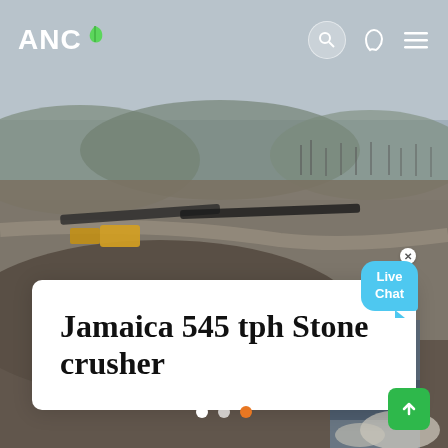[Figure (photo): Aerial view of a stone crushing industrial site with conveyor belts, heavy machinery, and industrial structures in a wide open landscape with hills and bare trees in the background.]
ANC
Jamaica 545 tph Stone crusher
[Figure (other): Live Chat speech bubble in light blue with 'Live Chat' text and a close (x) button]
[Figure (other): Navigation dots: two white dots and one orange dot indicating carousel position]